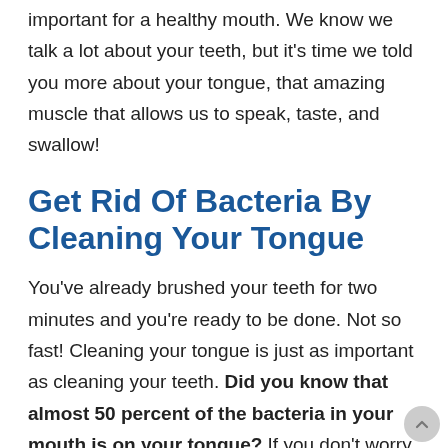important for a healthy mouth. We know we talk a lot about your teeth, but it's time we told you more about your tongue, that amazing muscle that allows us to speak, taste, and swallow!
Get Rid Of Bacteria By Cleaning Your Tongue
You've already brushed your teeth for two minutes and you're ready to be done. Not so fast! Cleaning your tongue is just as important as cleaning your teeth. Did you know that almost 50 percent of the bacteria in your mouth is on your tongue? If you don't worry about cleaning your tongue, that bacteria will transfer to your